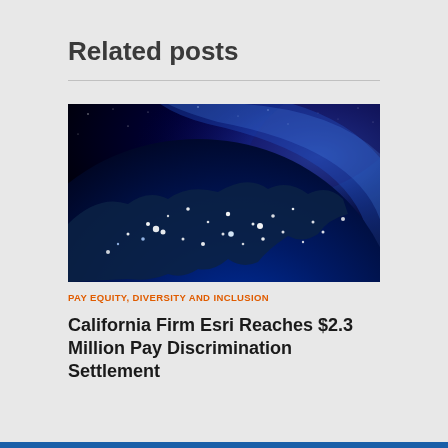Related posts
[Figure (photo): Satellite night-time photograph of the United States from space, showing city lights across the country with the curve of the Earth and a blue atmospheric glow visible.]
PAY EQUITY, DIVERSITY AND INCLUSION
California Firm Esri Reaches $2.3 Million Pay Discrimination Settlement